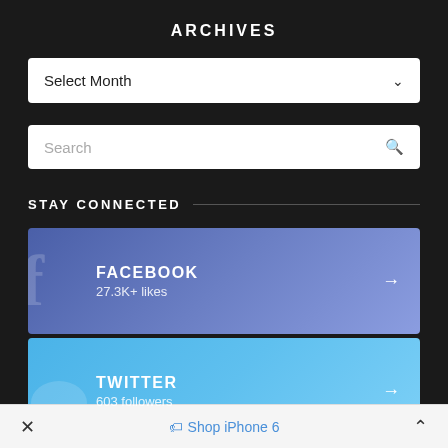ARCHIVES
[Figure (screenshot): Select Month dropdown UI element with white background and chevron arrow]
[Figure (screenshot): Search input box with placeholder text and search icon]
STAY CONNECTED
[Figure (screenshot): Facebook social card with 27.3K+ likes and arrow link]
[Figure (screenshot): Twitter social card with 603 followers and arrow link]
× Shop iPhone 6 ∧